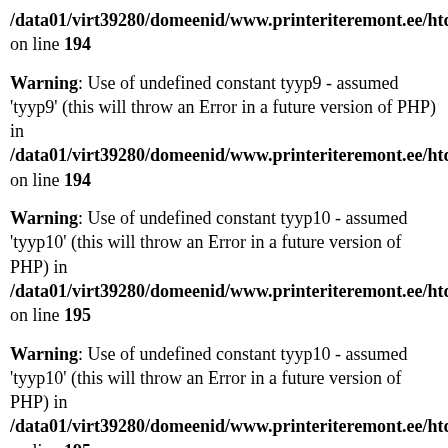/data01/virt39280/domeenid/www.printeriteremont.ee/htdocs/adm on line 194
Warning: Use of undefined constant tyyp9 - assumed 'tyyp9' (this will throw an Error in a future version of PHP) in /data01/virt39280/domeenid/www.printeriteremont.ee/htdocs/adm on line 194
Warning: Use of undefined constant tyyp10 - assumed 'tyyp10' (this will throw an Error in a future version of PHP) in /data01/virt39280/domeenid/www.printeriteremont.ee/htdocs/adm on line 195
Warning: Use of undefined constant tyyp10 - assumed 'tyyp10' (this will throw an Error in a future version of PHP) in /data01/virt39280/domeenid/www.printeriteremont.ee/htdocs/adm on line 195
Warning: Use of undefined constant tyyp11 - assumed 'tyyp11' (this will throw an Error in a future version of PHP) in /data01/virt39280/domeenid/www.printeriteremont.ee/htdocs/adm on line 196
Warning: Use of undefined constant tyyp11 - assumed 'tyyp11' (this will throw an Error in a future version of PHP) in